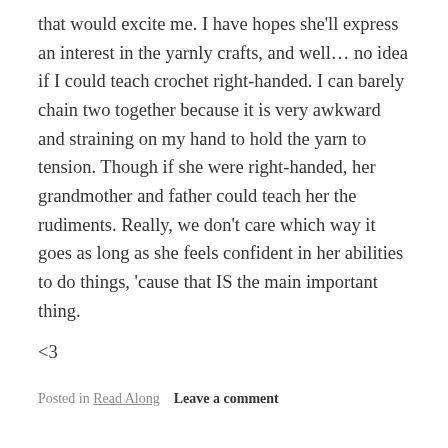that would excite me. I have hopes she'll express an interest in the yarnly crafts, and well… no idea if I could teach crochet right-handed. I can barely chain two together because it is very awkward and straining on my hand to hold the yarn to tension. Though if she were right-handed, her grandmother and father could teach her the rudiments. Really, we don't care which way it goes as long as she feels confident in her abilities to do things, 'cause that IS the main important thing.
<3
Posted in Read Along     Leave a comment